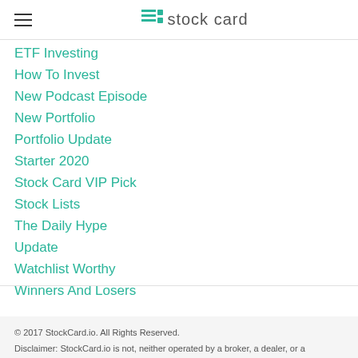stock card
ETF Investing
How To Invest
New Podcast Episode
New Portfolio
Portfolio Update
Starter 2020
Stock Card VIP Pick
Stock Lists
The Daily Hype
Update
Watchlist Worthy
Winners And Losers
© 2017 StockCard.io. All Rights Reserved.

Disclaimer: StockCard.io is not, neither operated by a broker, a dealer, or a